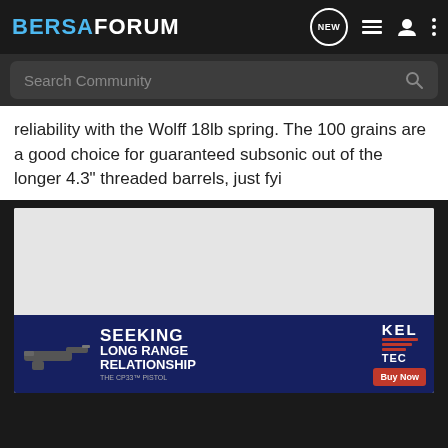BERSAFORUM
reliability with the Wolff 18lb spring. The 100 grains are a good choice for guaranteed subsonic out of the longer 4.3" threaded barrels, just fyi
[Figure (photo): Advertisement banner for Kel-Tec CP33 pistol with text 'SEEKING LONG RANGE RELATIONSHIP' and Buy Now button]